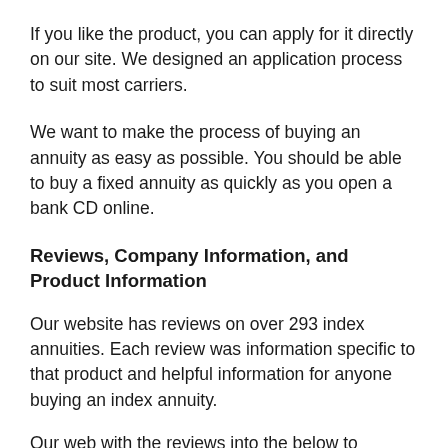If you like the product, you can apply for it directly on our site. We designed an application process to suit most carriers.
We want to make the process of buying an annuity as easy as possible. You should be able to buy a fixed annuity as quickly as you open a bank CD online.
Reviews, Company Information, and Product Information
Our website has reviews on over 293 index annuities. Each review was information specific to that product and helpful information for anyone buying an index annuity.
Our web with the reviews into the below to...